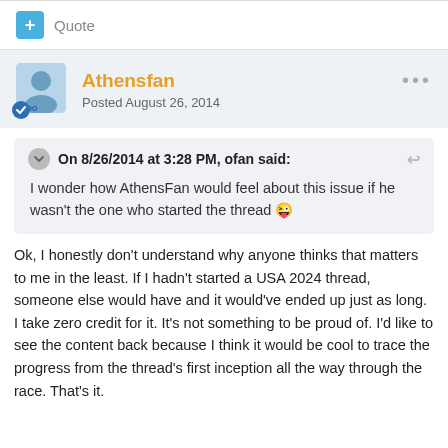+ Quote
Athensfan
Posted August 26, 2014
On 8/26/2014 at 3:28 PM, ofan said:
I wonder how AthensFan would feel about this issue if he wasn't the one who started the thread 😜
Ok, I honestly don't understand why anyone thinks that matters to me in the least. If I hadn't started a USA 2024 thread, someone else would have and it would've ended up just as long. I take zero credit for it. It's not something to be proud of. I'd like to see the content back because I think it would be cool to trace the progress from the thread's first inception all the way through the race. That's it.